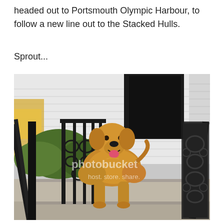headed out to Portsmouth Olympic Harbour, to follow a new line out to the Stacked Hulls.
Sprout...
[Figure (photo): A golden retriever dog standing on concrete steps at the entrance of a house, flanked by ornate black wrought iron railings and a gate. A yellow vehicle is partially visible on the left. The house has white siding and an open door. A Photobucket watermark is visible on the image.]